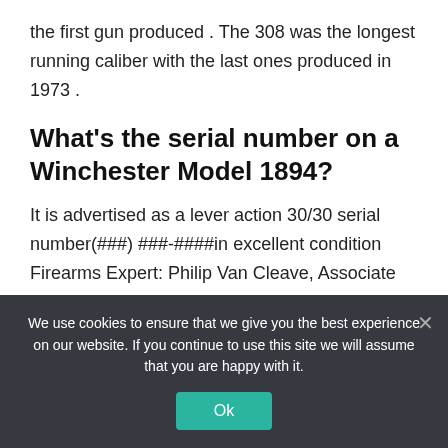the first gun produced . The 308 was the longest running caliber with the last ones produced in 1973 .
What's the serial number on a Winchester Model 1894?
It is advertised as a lever action 30/30 serial number(###) ###-####in excellent condition Firearms Expert: Philip Van Cleave, Associate Degree replied 6 years ago It is most likely a
We use cookies to ensure that we give you the best experience on our website. If you continue to use this site we will assume that you are happy with it.